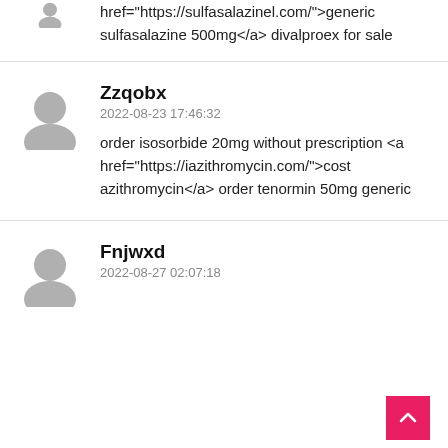href="https://sulfasalazinel.com/">generic sulfasalazine 500mg</a> divalproex for sale
Zzqobx
2022-08-23 17:46:32
order isosorbide 20mg without prescription <a href="https://iazithromycin.com/">cost azithromycin</a> order tenormin 50mg generic
Fnjwxd
2022-08-27 02:07:18